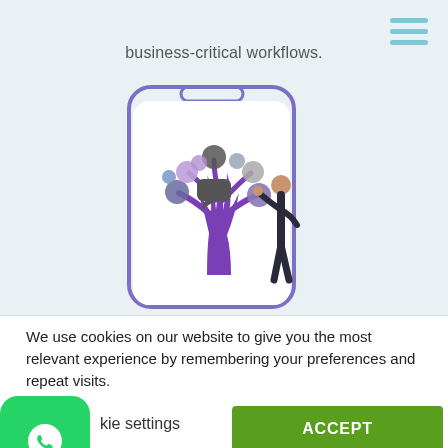≡ (hamburger menu icon)
business-critical workflows.
[Figure (illustration): A smartphone frame containing an illustration of a purple tree with social/app icons as leaves, and a person reaching up to interact with the icons.]
We use cookies on our website to give you the most relevant experience by remembering your preferences and repeat visits.
kie settings
ACCEPT